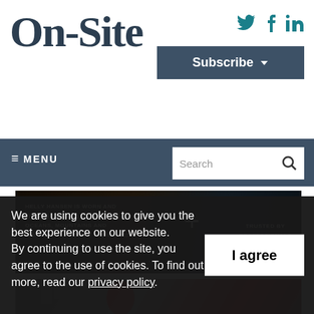On-Site
[Figure (logo): Social media icons: Twitter bird, Facebook f, LinkedIn in — teal colored]
[Figure (screenshot): Subscribe button with dropdown arrow, dark slate blue background]
≡ MENU
[Figure (screenshot): Search box with magnifying glass icon on dark navy navigation bar]
[Figure (photo): Helly Hansen advertisement banner: dark background with text 'HELLY HANSEN IS WORN AND TRUSTED BY PROFESSIONALS ON OCEANS, MOUNTAINS AND WORKSITES AROUND THE WORLD' and cross logo with 'TRUSTED BY PROFESSIONALS']
[Figure (photo): Abstract 3D architectural/construction image with dark gray geometric blocks and a large red ribbon/loop shape]
We are using cookies to give you the best experience on our website.
By continuing to use the site, you agree to the use of cookies. To find out more, read our privacy policy.
[Figure (screenshot): White 'I agree' button on dark cookie consent banner]